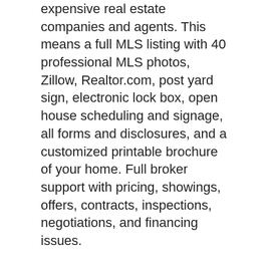expensive real estate companies and agents. This means a full MLS listing with 40 professional MLS photos, Zillow, Realtor.com, post yard sign, electronic lock box, open house scheduling and signage, all forms and disclosures, and a customized printable brochure of your home. Full broker support with pricing, showings, offers, contracts, inspections, negotiations, and financing issues.
In addition to these outstanding features, Naugatuck real estate is also desirable and includes diverse housing opportunities. There are condos, townhomes, traditional single-family homes, and luxury homes in naugatuck . Homes for sale in naugatuck include older properties in historical neighborhoods, as well as new construction, and because of the diversity among